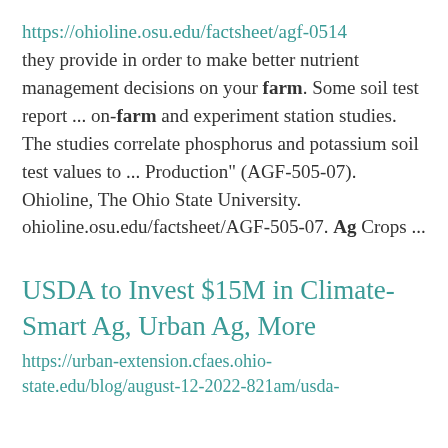https://ohioline.osu.edu/factsheet/agf-0514 they provide in order to make better nutrient management decisions on your farm. Some soil test report ... on-farm and experiment station studies. The studies correlate phosphorus and potassium soil test values to ... Production" (AGF-505-07). Ohioline, The Ohio State University. ohioline.osu.edu/factsheet/AGF-505-07. Ag Crops ...
USDA to Invest $15M in Climate-Smart Ag, Urban Ag, More
https://urban-extension.cfaes.ohio-state.edu/blog/august-12-2022-821am/usda-...